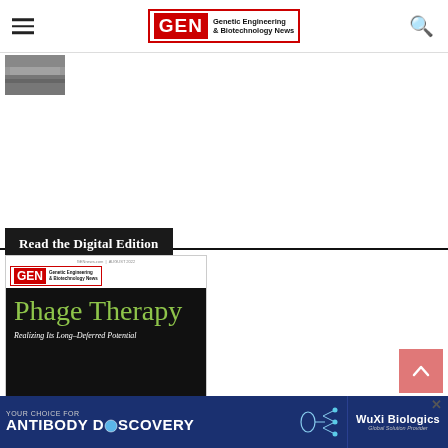GEN Genetic Engineering & Biotechnology News
[Figure (photo): Partial thumbnail photo of a lake or water scene, grey tones]
Read the Digital Edition
[Figure (photo): GEN magazine cover August 2022 featuring Phage Therapy: Realizing Its Long-Deferred Potential with dark background and green title text]
[Figure (infographic): Advertisement banner: YOUR CHOICE FOR ANTIBODY DISCOVERY - WuXi Biologics Global Solution Provider]